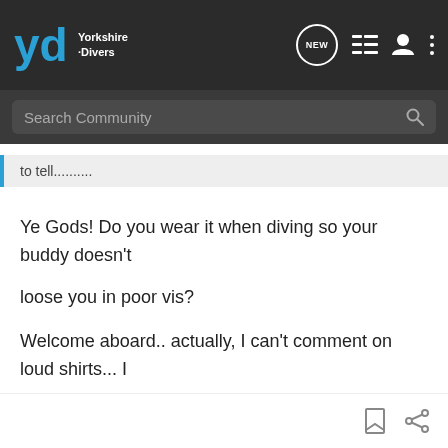Yorkshire Divers - Community Forum Header with Search
to tell..........
Ye Gods! Do you wear it when diving so your buddy doesn't loose you in poor vis?

Welcome aboard.. actually, I can't comment on loud shirts... I have some truly evil ones too!
FathomsDown - Where diving trips happen